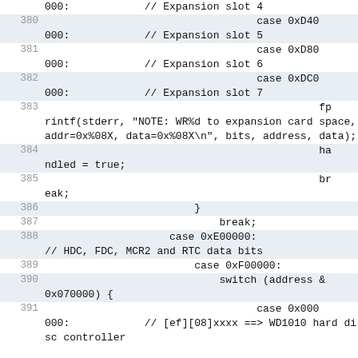Code listing showing switch/case statements for expansion slots and memory-mapped I/O handling in C, lines 380-391
380: case 0xD40000: // Expansion slot 5
381: case 0xD80000: // Expansion slot 6
382: case 0xDC0000: // Expansion slot 7
383: fprintf(stderr, "NOTE: WR%d to expansion card space, addr=0x%08X, data=0x%08X\n", bits, address, data);
384: handled = true;
385: break;
386: }
387: break;
388: case 0xE00000: // HDC, FDC, MCR2 and RTC data bits
389: case 0xF00000:
390: switch (address & 0x070000) {
391: case 0x000000: // [ef][08]xxxx ==> WD1010 hard disc controller